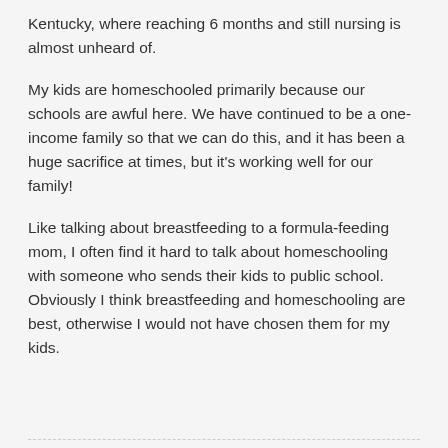Kentucky, where reaching 6 months and still nursing is almost unheard of.
My kids are homeschooled primarily because our schools are awful here. We have continued to be a one-income family so that we can do this, and it has been a huge sacrifice at times, but it's working well for our family!
Like talking about breastfeeding to a formula-feeding mom, I often find it hard to talk about homeschooling with someone who sends their kids to public school. Obviously I think breastfeeding and homeschooling are best, otherwise I would not have chosen them for my kids.